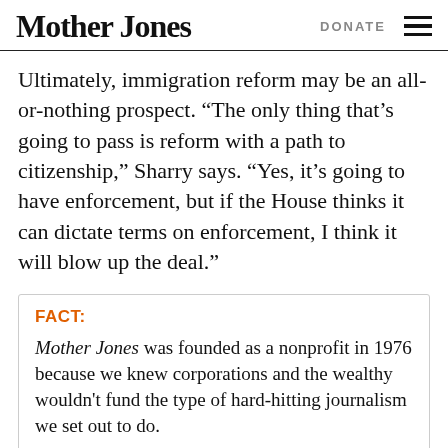Mother Jones | DONATE
Ultimately, immigration reform may be an all-or-nothing prospect. “The only thing that’s going to pass is reform with a path to citizenship,” Sharry says. “Yes, it’s going to have enforcement, but if the House thinks it can dictate terms on enforcement, I think it will blow up the deal.”
FACT:
Mother Jones was founded as a nonprofit in 1976 because we knew corporations and the wealthy wouldn't fund the type of hard-hitting journalism we set out to do.
To keep our content free and accessible to everyone, we rely on readers...